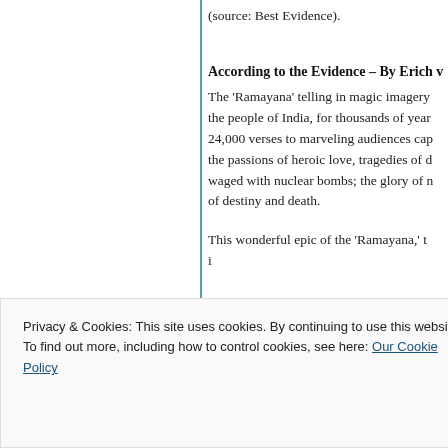(source: Best Evidence).
According to the Evidence – By Erich v
The 'Ramayana' telling in magic imagery the people of India, for thousands of years 24,000 verses to marveling audiences cap the passions of heroic love, tragedies of d waged with nuclear bombs; the glory of n of destiny and death.
This wonderful epic of the 'Ramayana,' th
Privacy & Cookies: This site uses cookies. By continuing to use this website, you agree to their use.
To find out more, including how to control cookies, see here: Our Cookie Policy